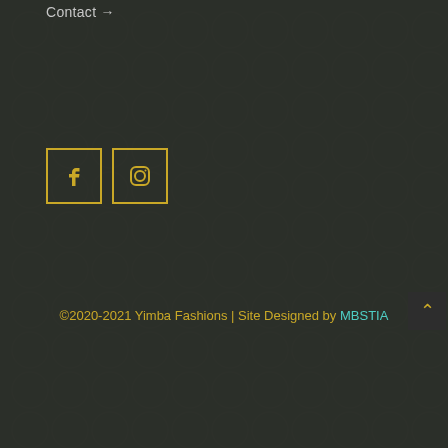Contact →
[Figure (other): Facebook and Instagram social media icon boxes with gold/yellow borders and icons]
©2020-2021 Yimba Fashions | Site Designed by MBSTIA